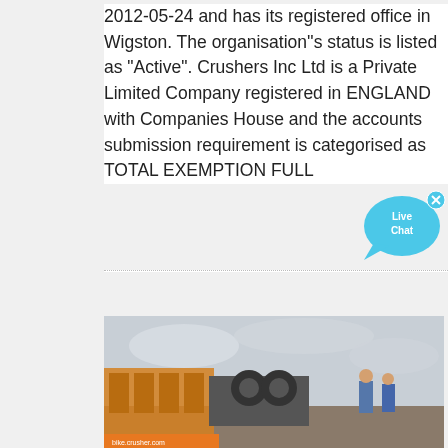2012-05-24 and has its registered office in Wigston. The organisation''s status is listed as "Active". Crushers Inc Ltd is a Private Limited Company registered in ENGLAND with Companies House and the accounts submission requirement is categorised as TOTAL EXEMPTION FULL
[Figure (other): Live Chat button widget — speech bubble icon in blue with text 'Live Chat' and a small close (x) button]
[Figure (photo): Industrial machinery (crusher/conveyor equipment) outdoors under an overcast sky, with workers visible in the background]